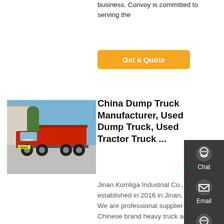business. Convoy is committed to serving the
Get a Quote
[Figure (photo): Red Chinese dump truck (HOWO brand) parked outside an industrial building on a paved lot, blue sky background.]
China Dump Truck Manufacturer, Used Dump Truck, Used Tractor Truck ...
Jinan Komliga Industrial Co., established in 2016 in Jinan, China. We are professional supplier for Chinese brand heavy truck and kinds of trailers as well as spare parts, Sinotruk, Shacman, Beiben, SEM, Foton